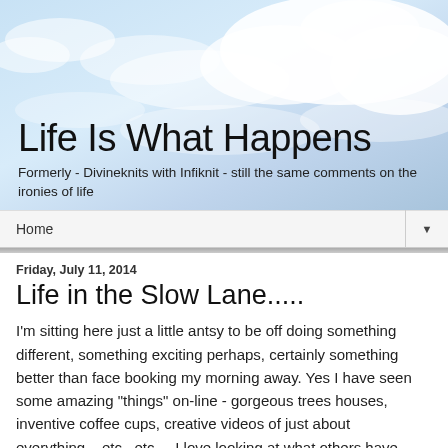[Figure (photo): Sky and clouds background image for blog header]
Life Is What Happens
Formerly - Divineknits with Infiknit - still the same comments on the ironies of life
Home
Friday, July 11, 2014
Life in the Slow Lane.....
I'm sitting here just a little antsy to be off doing something different, something exciting perhaps, certainly something better than face booking my morning away. Yes I have seen some amazing "things" on-line - gorgeous trees houses, inventive coffee cups, creative videos of just about everything....etc...etc.... I love looking at what others have